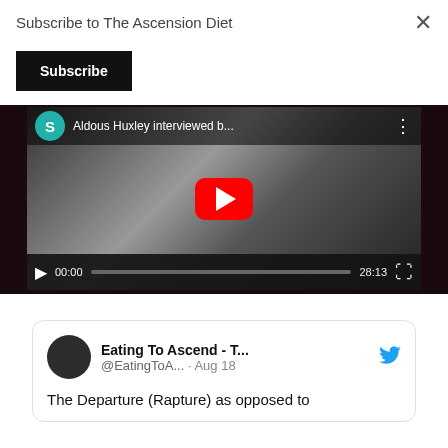Subscribe to The Ascension Diet
Subscribe
[Figure (screenshot): YouTube video embed showing 'Aldous Huxley interviewed b...' with a black and white photo of a man's face, a red YouTube play button in the center, channel avatar with letter S on teal background, and video controls showing 00:00 / 28:13]
Eating To Ascend - T... @EatingToA... · Aug 18
The Departure (Rapture) as opposed to